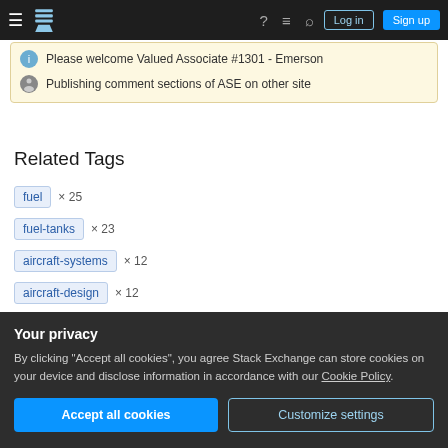Stack Exchange navigation bar with Log in and Sign up buttons
Please welcome Valued Associate #1301 - Emerson
Publishing comment sections of ASE on other site
Related Tags
fuel × 25
fuel-tanks × 23
aircraft-systems × 12
aircraft-design × 12
Your privacy
By clicking "Accept all cookies", you agree Stack Exchange can store cookies on your device and disclose information in accordance with our Cookie Policy.
Accept all cookies | Customize settings